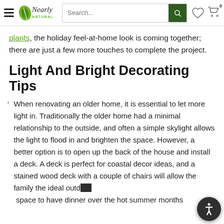Nearly Natural — navigation header with search, wishlist, and cart
plants, the holiday feel-at-home look is coming together; there are just a few more touches to complete the project.
Light And Bright Decorating Tips
When renovating an older home, it is essential to let more light in. Traditionally the older home had a minimal relationship to the outside, and often a simple skylight allows the light to flood in and brighten the space. However, a better option is to open up the back of the house and install a deck. A deck is perfect for coastal decor ideas, and a stained wood deck with a couple of chairs will allow the family the ideal outdoor space to have dinner over the hot summer months